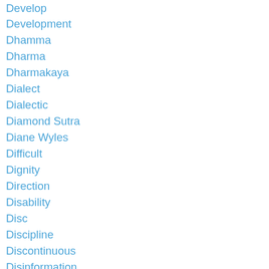Develop
Development
Dhamma
Dharma
Dharmakaya
Dialect
Dialectic
Diamond Sutra
Diane Wyles
Difficult
Dignity
Direction
Disability
Disc
Discipline
Discontinuous
Disinformation
Distance
Distance Learning
Divert
Divide